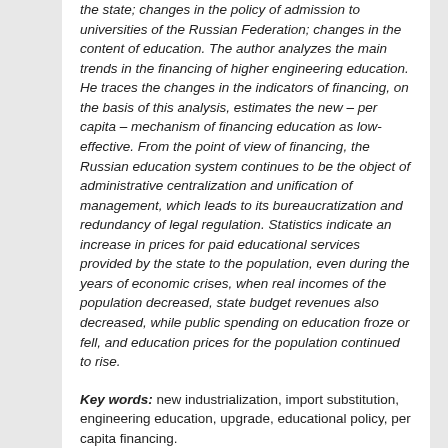the state; changes in the policy of admission to universities of the Russian Federation; changes in the content of education. The author analyzes the main trends in the financing of higher engineering education. He traces the changes in the indicators of financing, on the basis of this analysis, estimates the new – per capita – mechanism of financing education as low-effective. From the point of view of financing, the Russian education system continues to be the object of administrative centralization and unification of management, which leads to its bureaucratization and redundancy of legal regulation. Statistics indicate an increase in prices for paid educational services provided by the state to the population, even during the years of economic crises, when real incomes of the population decreased, state budget revenues also decreased, while public spending on education froze or fell, and education prices for the population continued to rise.
Key words: new industrialization, import substitution, engineering education, upgrade, educational policy, per capita financing.